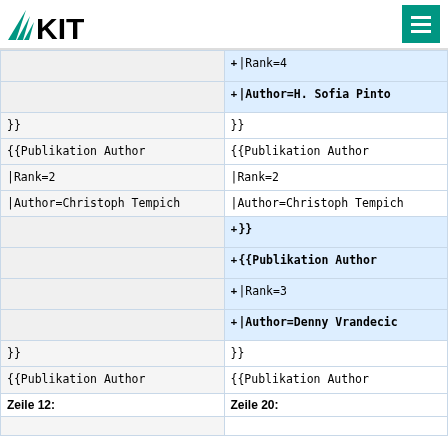KIT logo and menu icon
| Left | Right |
| --- | --- |
| |Rank=4 (added) | |Rank=4 (added) |
| |Author=H. Sofia Pinto (added) | |Author=H. Sofia Pinto (added) |
| }} | }} |
| {{Publikation Author | {{Publikation Author |
| |Rank=2 | |Rank=2 |
| |Author=Christoph Tempich | |Author=Christoph Tempich |
|  | }} (added) |
|  | {{Publikation Author (added) |
|  | |Rank=3 (added) |
|  | |Author=Denny Vrandecic (added) |
| }} | }} |
| {{Publikation Author | {{Publikation Author |
| Zeile 12: | Zeile 20: |